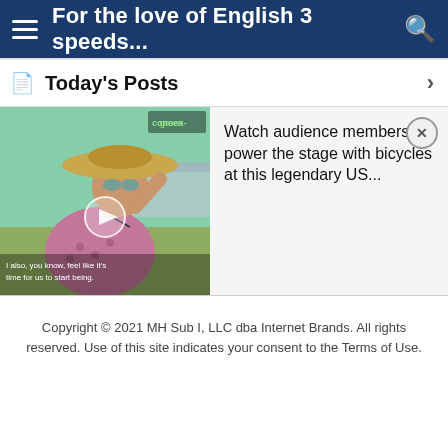For the love of English 3 speeds...
Today's Posts
[Figure (screenshot): Screenshot of a website post card showing a woman wearing a wide-brim hat outdoors at a festival, with a video play button overlay and caption text 'I also, you know, feel like it's time for us to start being.' alongside text: 'Watch audience members power the stage with bicycles at this legendary US...']
Copyright © 2021 MH Sub I, LLC dba Internet Brands. All rights reserved. Use of this site indicates your consent to the Terms of Use.